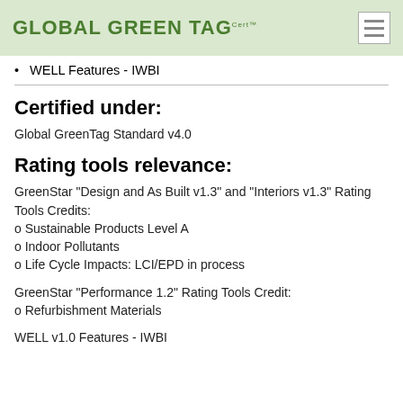GLOBAL GREEN TAG CertTM
WELL Features - IWBI
Certified under:
Global GreenTag Standard v4.0
Rating tools relevance:
GreenStar "Design and As Built v1.3" and "Interiors v1.3" Rating Tools Credits:
o Sustainable Products Level A
o Indoor Pollutants
o Life Cycle Impacts: LCI/EPD in process
GreenStar "Performance 1.2" Rating Tools Credit:
o Refurbishment Materials
WELL v1.0 Features - IWBI